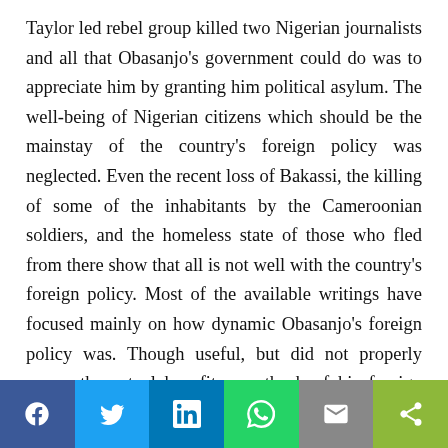Taylor led rebel group killed two Nigerian journalists and all that Obasanjo's government could do was to appreciate him by granting him political asylum. The well-being of Nigerian citizens which should be the mainstay of the country's foreign policy was neglected. Even the recent loss of Bakassi, the killing of some of the inhabitants by the Cameroonian soldiers, and the homeless state of those who fled from there show that all is not well with the country's foreign policy. Most of the available writings have focused mainly on how dynamic Obasanjo's foreign policy was. Though useful, but did not properly assess the actual benefit or setback of his foreign policy. Hence, there is need to review Obasanjo's foreign policy between 1999 and 2007,
[Figure (other): Social media share bar with Facebook, Twitter, LinkedIn, WhatsApp, Email, and Share buttons]